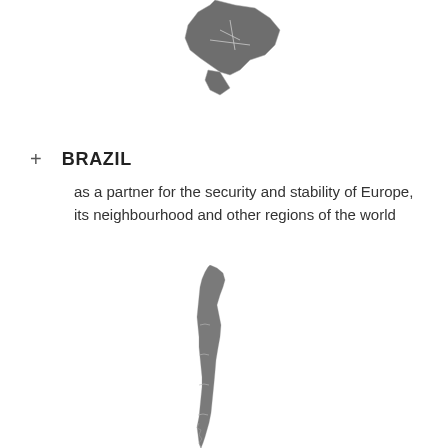[Figure (map): Partial map of Brazil shown in dark grey, cropped at top of page]
+ BRAZIL
as a partner for the security and stability of Europe, its neighbourhood and other regions of the world
[Figure (map): Map of Chile shown in dark grey, elongated narrow country shape]